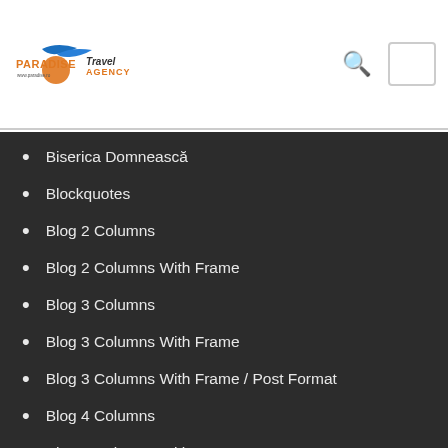Paradise Travel Agency — www.paradise.ro
Biserica Domnească
Blockquotes
Blog 2 Columns
Blog 2 Columns With Frame
Blog 3 Columns
Blog 3 Columns With Frame
Blog 3 Columns With Frame / Post Format
Blog 4 Columns
Blog 4 Columns With Frame
Blog Full Both Sidebar
Blog Full Both Sidebar With Frame
Blog Full Left Sidebar
Blog Full Left Sidebar With Frame
Blog Full Right Sidebar
Blog Full Right Sidebar With Frame (partially visible)